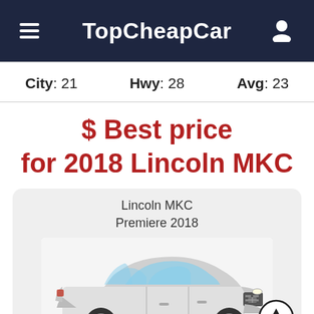TopCheapCar
City: 21   Hwy: 28   Avg: 23
$ Best price for 2018 Lincoln MKC
Lincoln MKC Premiere 2018
[Figure (photo): Photo of a white 2018 Lincoln MKC SUV, front three-quarter view]